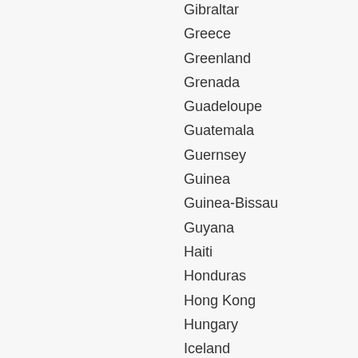Gibraltar
Greece
Greenland
Grenada
Guadeloupe
Guatemala
Guernsey
Guinea
Guinea-Bissau
Guyana
Haiti
Honduras
Hong Kong
Hungary
Iceland
India
Indonesia
Iraq